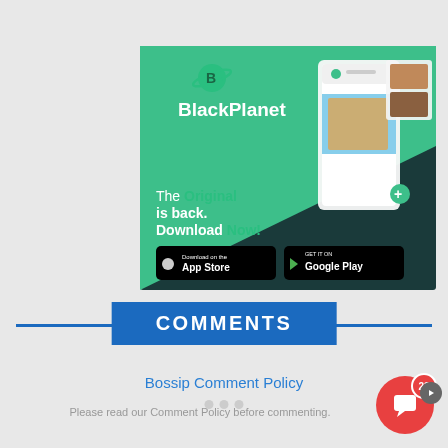[Figure (illustration): BlackPlanet app advertisement banner with dark teal background, green diagonal section, BlackPlanet logo and planet icon, text 'The Original is back. Download Now!', App Store and Google Play download buttons, phone mockup showing app interface with people photos]
COMMENTS
Bossip Comment Policy
Please read our Comment Policy before commenting.